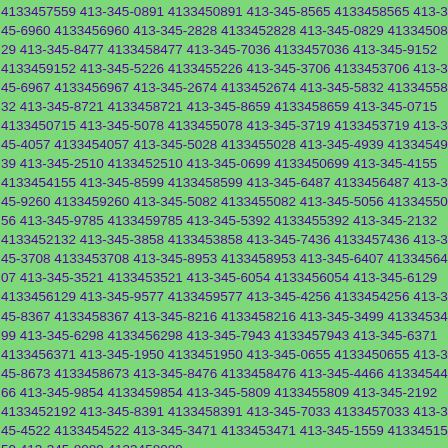4133457559 413-345-0891 4133450891 413-345-8565 4133458565 413-345-6960 4133456960 413-345-2828 4133452828 413-345-0829 4133450829 413-345-8477 4133458477 413-345-7036 4133457036 413-345-9152 4133459152 413-345-5226 4133455226 413-345-3706 4133453706 413-345-6967 4133456967 413-345-2674 4133452674 413-345-5832 4133455832 413-345-8721 4133458721 413-345-8659 4133458659 413-345-0715 4133450715 413-345-5078 4133455078 413-345-3719 4133453719 413-345-4057 4133454057 413-345-5028 4133455028 413-345-4939 4133454939 413-345-2510 4133452510 413-345-0699 4133450699 413-345-4155 4133454155 413-345-8599 4133458599 413-345-6487 4133456487 413-345-9260 4133459260 413-345-5082 4133455082 413-345-5056 4133455056 413-345-9785 4133459785 413-345-5392 4133455392 413-345-2132 4133452132 413-345-3858 4133453858 413-345-7436 4133457436 413-345-3708 4133453708 413-345-8953 4133458953 413-345-6407 4133456407 413-345-3521 4133453521 413-345-6054 4133456054 413-345-6129 4133456129 413-345-9577 4133459577 413-345-4256 4133454256 413-345-8367 4133458367 413-345-8216 4133458216 413-345-3499 4133453499 413-345-6298 4133456298 413-345-7943 4133457943 413-345-6371 4133456371 413-345-1950 4133451950 413-345-0655 4133450655 413-345-8673 4133458673 413-345-8476 4133458476 413-345-4466 4133454466 413-345-9854 4133459854 413-345-5809 4133455809 413-345-2192 4133452192 413-345-8391 4133458391 413-345-7033 4133457033 413-345-4522 4133454522 413-345-3471 4133453471 413-345-1559 4133451559 413-345-8089 4133458089